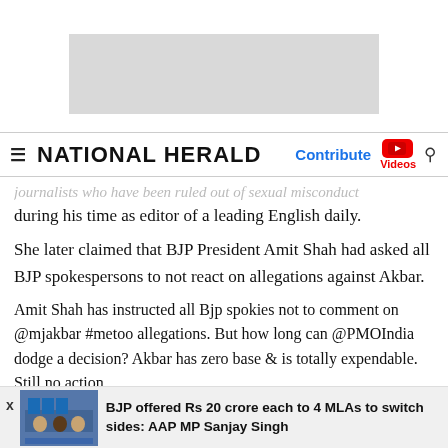[Figure (other): Gray advertisement banner placeholder]
≡ NATIONAL HERALD   Contribute  Videos  🔍
journalists who have been ruled out of sexual misconduct during his time as editor of a leading English daily.
She later claimed that BJP President Amit Shah had asked all BJP spokespersons to not react on allegations against Akbar.
Amit Shah has instructed all Bjp spokies not to comment on @mjakbar #metoo allegations. But how long can @PMOIndia dodge a decision? Akbar has zero base & is totally expendable. Still no action
— Swati Chaturvedi (@bainjal) October 9, 2018
[Figure (photo): Thumbnail image of AAP press conference with people seated at a table with AAP flags]
BJP offered Rs 20 crore each to 4 MLAs to switch sides: AAP MP Sanjay Singh